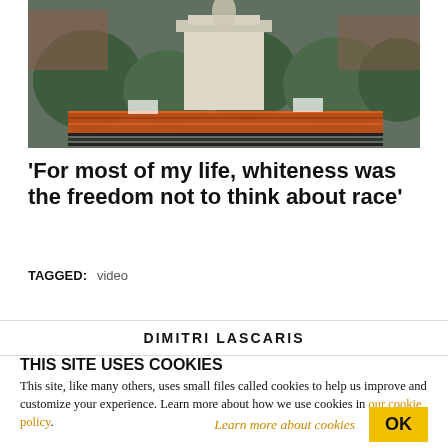[Figure (photo): A monument or statue on a pedestal surrounded by greenery and orange construction fencing with dark horizontal bars in front]
‘For most of my life, whiteness was the freedom not to think about race’
TAGGED: video
DIMITRI LASCARIS
THIS SITE USES COOKIES
This site, like many others, uses small files called cookies to help us improve and customize your experience. Learn more about how we use cookies in our cookie policy.
Learn more about cookies   OK